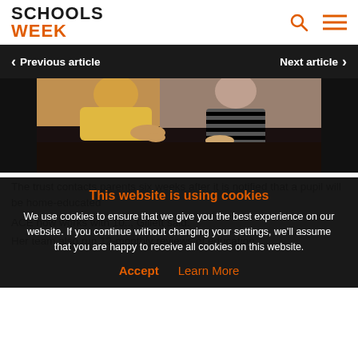SCHOOLS WEEK
Previous article   Next article
[Figure (photo): Adult and child sitting at a table together, working on something; adult wearing yellow top, child wearing black and white striped top]
The trust contacts parents six weeks after it is notified that a pupil will be home-educated
This website is using cookies
We use cookies to ensure that we give you the best experience on our website. If you continue without changing your settings, we'll assume that you are happy to receive all cookies on this website.
Accept   Learn More
ACE now works with 10... Gillett said.
Her team also run 12-monthly reviews of education (EHCP)...